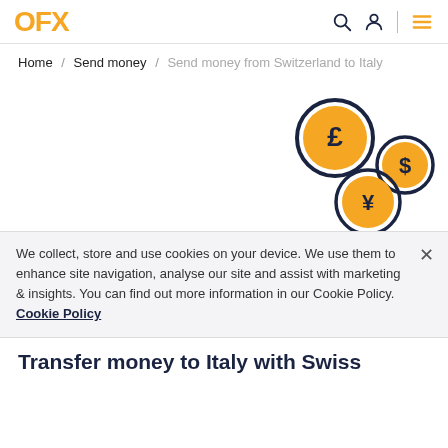OFX
Home / Send money / Send money from Switzerland to Italy
[Figure (illustration): Illustration of three currency coins: a pound (£) coin, a dollar ($) coin, and a yen (¥) coin, arranged in a scattered layout on the right side of a white background.]
We collect, store and use cookies on your device. We use them to enhance site navigation, analyse our site and assist with marketing & insights. You can find out more information in our Cookie Policy.  Cookie Policy
Transfer money to Italy with Swiss